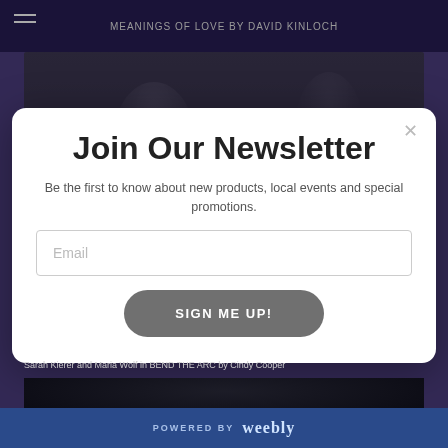MEANINGS OF LOVE by David Kinloch
[Figure (photo): Dark stage photo showing two performers silhouetted against a black background]
Join Our Newsletter
Be the first to know about new products, local events and special promotions.
Email
SIGN ME UP!
Sarah Kierer and Maria Wolf in BEND THE ARC by Cindy Cooper
[Figure (photo): Dark stage photo of performer against black background]
POWERED BY weebly